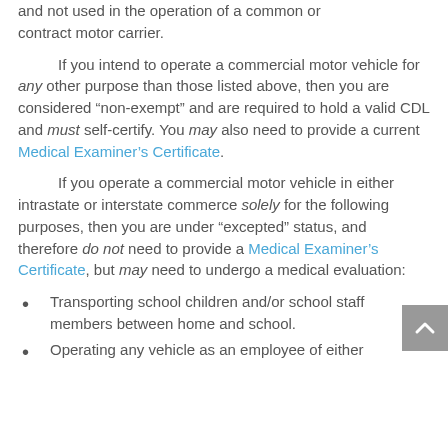and not used in the operation of a common or contract motor carrier.
If you intend to operate a commercial motor vehicle for any other purpose than those listed above, then you are considered “non-exempt” and are required to hold a valid CDL and must self-certify. You may also need to provide a current Medical Examiner’s Certificate.
If you operate a commercial motor vehicle in either intrastate or interstate commerce solely for the following purposes, then you are under “excepted” status, and therefore do not need to provide a Medical Examiner’s Certificate, but may need to undergo a medical evaluation:
Transporting school children and/or school staff members between home and school.
Operating any vehicle as an employee of either Federal, State, or local government.